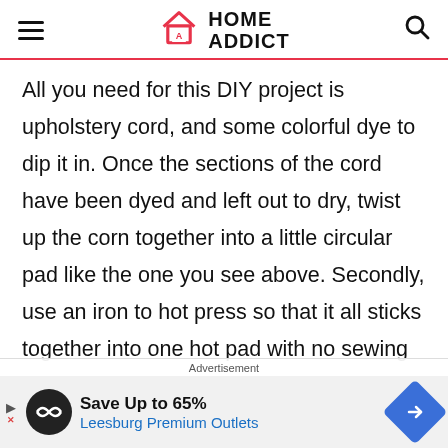HOME ADDICT
All you need for this DIY project is upholstery cord, and some colorful dye to dip it in. Once the sections of the cord have been dyed and left out to dry, twist up the corn together into a little circular pad like the one you see above. Secondly, use an iron to hot press so that it all sticks together into one hot pad with no sewing required. If you want to see
Advertisement
Save Up to 65% Leesburg Premium Outlets